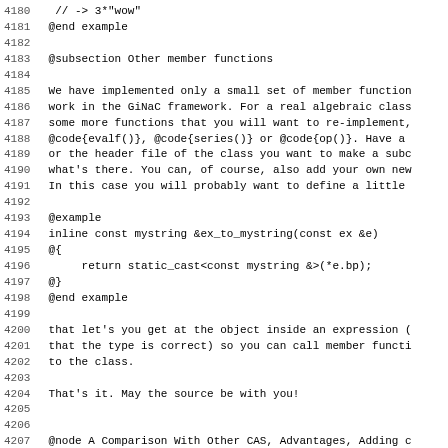4180  // -> 3*"wow"
4181 @end example
4182
4183 @subsection Other member functions
4184
4185 We have implemented only a small set of member function
4186 work in the GiNaC framework. For a real algebraic class
4187 some more functions that you will want to re-implement,
4188 @code{evalf()}, @code{series()} or @code{op()}. Have a
4189 or the header file of the class you want to make a subc
4190 what's there. You can, of course, also add your own new
4191 In this case you will probably want to define a little
4192
4193 @example
4194 inline const mystring &ex_to_mystring(const ex &e)
4195 @{
4196      return static_cast<const mystring &>(*e.bp);
4197 @}
4198 @end example
4199
4200 that let's you get at the object inside an expression (
4201 that the type is correct) so you can call member functi
4202 to the class.
4203
4204 That's it. May the source be with you!
4205
4206
4207 @node A Comparison With Other CAS, Advantages, Adding c
4208 @c    node-name, next, previous, up
4209 @chapter A Comparison With Other CAS
4210 @cindex advocacy
4211